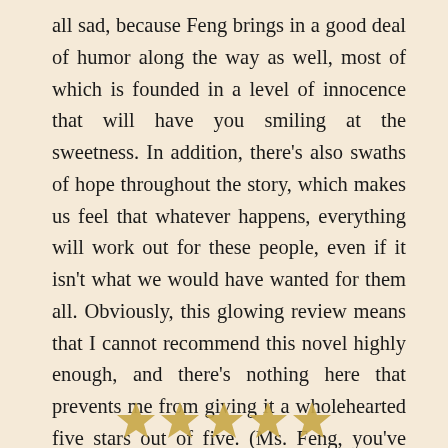all sad, because Feng brings in a good deal of humor along the way as well, most of which is founded in a level of innocence that will have you smiling at the sweetness. In addition, there's also swaths of hope throughout the story, which makes us feel that whatever happens, everything will work out for these people, even if it isn't what we would have wanted for them all. Obviously, this glowing review means that I cannot recommend this novel highly enough, and there's nothing here that prevents me from giving it a wholehearted five stars out of five. (Ms. Feng, you've made a devoted fan in me with this book!)
[Figure (illustration): A row of five decorative golden star/crown icons at the bottom of the page]